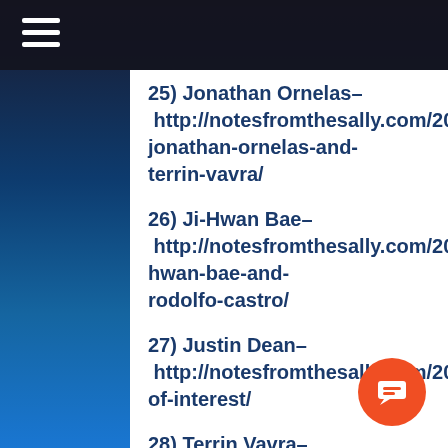25) Jonathan Ornelas– http://notesfromthesally.com/2019/05/20/thoughts-on-middle-infielders-jonathan-ornelas-and-terrin-vavra/
26) Ji-Hwan Bae– http://notesfromthesally.com/2019/06/01/thoughts-on-pirates-infielders-ji-hwan-bae-and-rodolfo-castro/
27) Justin Dean– http://notesfromthesally.com/2019/06/15/outfie...of-interest/
28) Terrin Vavra– http://notesfromthesally.com/2019/05/20/thoughts-on-middle-infielders-jonathan-ornelas-and-terrin-vavra/